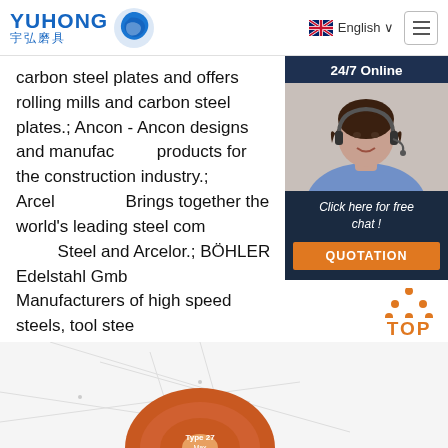[Figure (logo): YUHONG 宇弘磨具 logo with blue wave/circle icon]
English ∨
[Figure (other): Hamburger menu button icon]
carbon steel plates and offers rolling mills and carbon steel plates.; Ancon - Ancon designs and manufactures products for the construction industry.; ArcelorMittal - Brings together the world's leading steel companies: Ispat Steel and Arcelor.; BÖHLER Edelstahl GmbH - Manufacturers of high speed steels, tool stee ...
[Figure (photo): Customer service representative woman wearing headset, with 24/7 Online banner, Click here for free chat text, and QUOTATION button]
Get Price
[Figure (logo): TOP button with orange dot triangle icon]
[Figure (other): Bottom partial view of a grinding wheel (Type 27 / Max)]